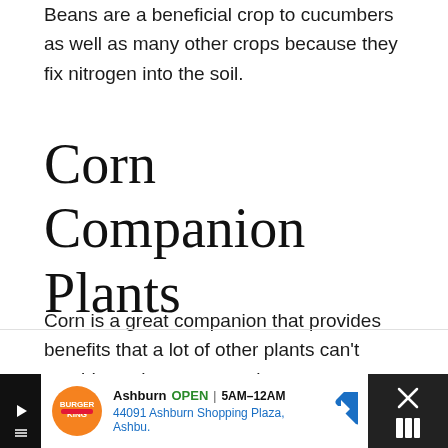Beans are a beneficial crop to cucumbers as well as many other crops because they fix nitrogen into the soil.
Corn Companion Plants
Corn is a great companion that provides benefits that a lot of other plants can't provide such as structural support.
Burger King | Ashburn OPEN 5AM–12AM | 44091 Ashburn Shopping Plaza, Ashbu.